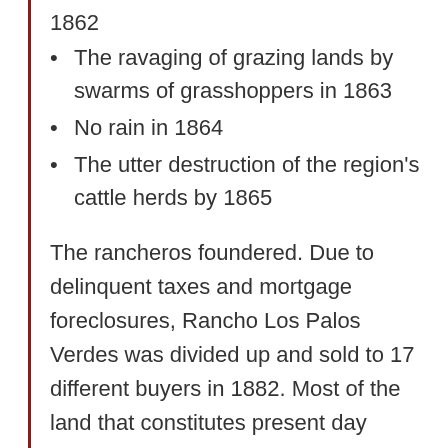1862
The ravaging of grazing lands by swarms of grasshoppers in 1863
No rain in 1864
The utter destruction of the region's cattle herds by 1865
The rancheros foundered. Due to delinquent taxes and mortgage foreclosures, Rancho Los Palos Verdes was divided up and sold to 17 different buyers in 1882. Most of the land that constitutes present day Lomita was sold to a farmer named Ben Weston and the Ranch Water Company which sheep farmer Nathaniel